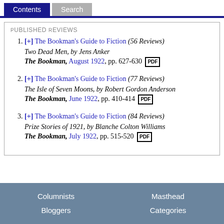Contents | Search
Published Reviews
[+] The Bookman's Guide to Fiction (56 Reviews) Two Dead Men, by Jens Anker The Bookman, August 1922, pp. 627-630 PDF
[+] The Bookman's Guide to Fiction (77 Reviews) The Isle of Seven Moons, by Robert Gordon Anderson The Bookman, June 1922, pp. 410-414 PDF
[+] The Bookman's Guide to Fiction (84 Reviews) Prize Stories of 1921, by Blanche Colton Williams The Bookman, July 1922, pp. 515-520 PDF
Columnists | Masthead | Bloggers | Categories